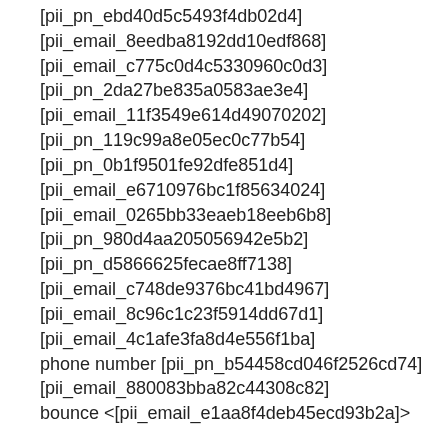[pii_pn_ebd40d5c5493f4db02d4]
[pii_email_8eedba8192dd10edf868]
[pii_email_c775c0d4c5330960c0d3]
[pii_pn_2da27be835a0583ae3e4]
[pii_email_11f3549e614d49070202]
[pii_pn_119c99a8e05ec0c77b54]
[pii_pn_0b1f9501fe92dfe851d4]
[pii_email_e6710976bc1f85634024]
[pii_email_0265bb33eaeb18eeb6b8]
[pii_pn_980d4aa205056942e5b2]
[pii_pn_d5866625fecae8ff7138]
[pii_email_c748de9376bc41bd4967]
[pii_email_8c96c1c23f5914dd67d1]
[pii_email_4c1afe3fa8d4e556f1ba]
phone number [pii_pn_b54458cd046f2526cd74]
[pii_email_880083bba82c44308c82]
bounce <[pii_email_e1aa8f4deb45ecd93b2a]>